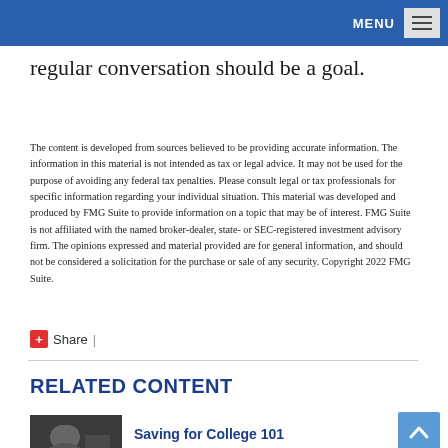MENU
regular conversation should be a goal.
The content is developed from sources believed to be providing accurate information. The information in this material is not intended as tax or legal advice. It may not be used for the purpose of avoiding any federal tax penalties. Please consult legal or tax professionals for specific information regarding your individual situation. This material was developed and produced by FMG Suite to provide information on a topic that may be of interest. FMG Suite is not affiliated with the named broker-dealer, state- or SEC-registered investment advisory firm. The opinions expressed and material provided are for general information, and should not be considered a solicitation for the purchase or sale of any security. Copyright 2022 FMG Suite.
Share |
RELATED CONTENT
[Figure (photo): Thumbnail photo of a person, used as related content article image]
Saving for College 101